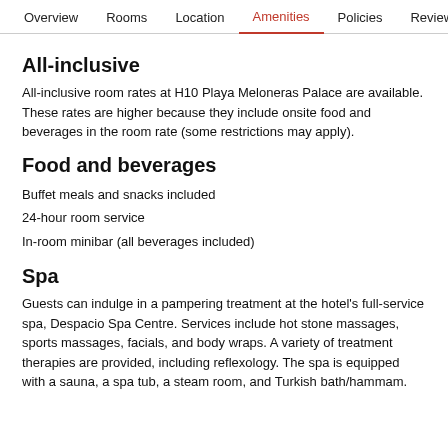Overview  Rooms  Location  Amenities  Policies  Reviews
All-inclusive
All-inclusive room rates at H10 Playa Meloneras Palace are available. These rates are higher because they include onsite food and beverages in the room rate (some restrictions may apply).
Food and beverages
Buffet meals and snacks included
24-hour room service
In-room minibar (all beverages included)
Spa
Guests can indulge in a pampering treatment at the hotel's full-service spa, Despacio Spa Centre. Services include hot stone massages, sports massages, facials, and body wraps. A variety of treatment therapies are provided, including reflexology. The spa is equipped with a sauna, a spa tub, a steam room, and Turkish bath/hammam.